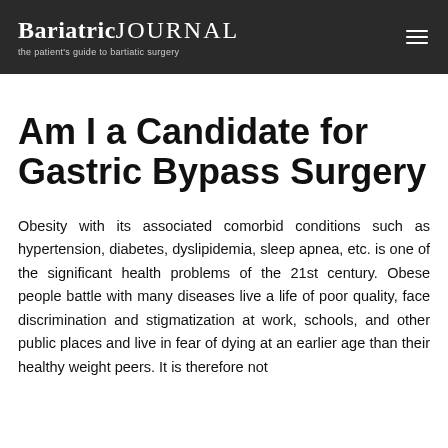BariatricJOURNAL — the patient's guide to bariatric surgery
Am I a Candidate for Gastric Bypass Surgery
Obesity with its associated comorbid conditions such as hypertension, diabetes, dyslipidemia, sleep apnea, etc. is one of the significant health problems of the 21st century. Obese people battle with many diseases live a life of poor quality, face discrimination and stigmatization at work, schools, and other public places and live in fear of dying at an earlier age than their healthy weight peers. It is therefore not